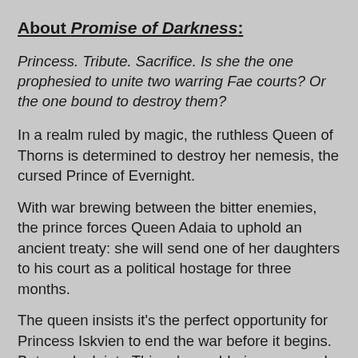About Promise of Darkness:
Princess. Tribute. Sacrifice. Is she the one prophesied to unite two warring Fae courts? Or the one bound to destroy them?
In a realm ruled by magic, the ruthless Queen of Thorns is determined to destroy her nemesis, the cursed Prince of Evernight.
With war brewing between the bitter enemies, the prince forces Queen Adaia to uphold an ancient treaty: she will send one of her daughters to his court as a political hostage for three months.
The queen insists it's the perfect opportunity for Princess Iskvien to end the war before it begins. But one look into Thiago's smoldering eyes and Vi knows she's no assassin.
The more secrets she uncovers about the prince and his court, the more she begins to question her mother's motives